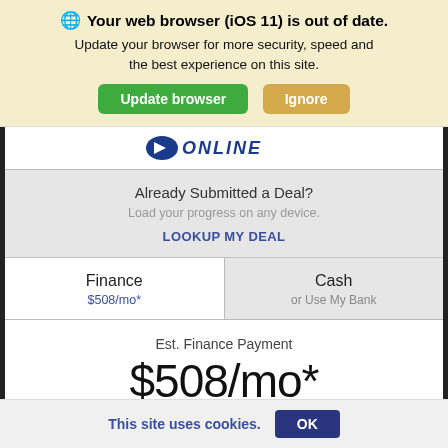Your web browser (iOS 11) is out of date. Update your browser for more security, speed and the best experience on this site.
Update browser | Ignore
[Figure (logo): Dealertrack ONLINE logo with blue chevron icon]
Already Submitted a Deal?
Load your progress on any device.
LOOKUP MY DEAL
Finance
$508/mo*
Cash
or Use My Bank
Est. Finance Payment
$508/mo*
This site uses cookies.